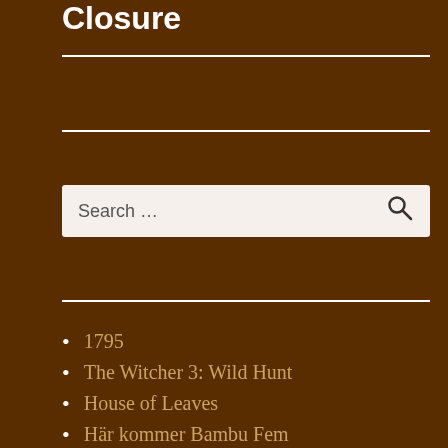Closure
Search …
1795
The Witcher 3: Wild Hunt
House of Leaves
Här kommer Bambu Fem
The Printed Bird...